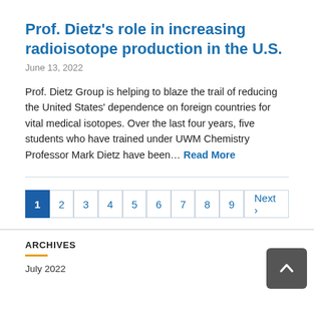Prof. Dietz's role in increasing radioisotope production in the U.S.
June 13, 2022
Prof. Dietz Group is helping to blaze the trail of reducing the United States' dependence on foreign countries for vital medical isotopes. Over the last four years, five students who have trained under UWM Chemistry Professor Mark Dietz have been… Read More
1
2
3
4
5
6
7
8
9
Next ›
ARCHIVES
July 2022